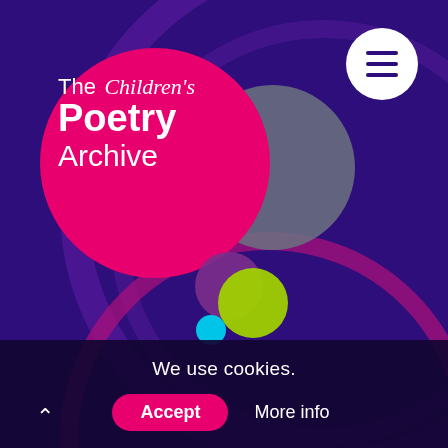[Figure (screenshot): The Children's Poetry Archive website screenshot showing the logo with a pink circle containing the text 'The Children's Poetry Archive', decorative colored circles (gray, purple, lime, cyan), a white menu button with hamburger icon in the top right, purple background with arc decorations, and a pink magenta arc at the bottom.]
We use cookies.
Accept
More info